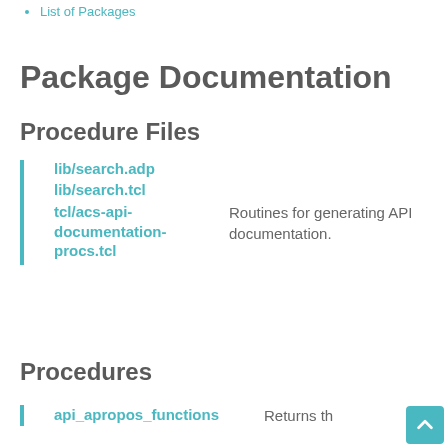List of Packages
Package Documentation
Procedure Files
lib/search.adp
lib/search.tcl
tcl/acs-api-documentation-procs.tcl — Routines for generating API documentation.
Procedures
api_apropos_functions — Returns th…